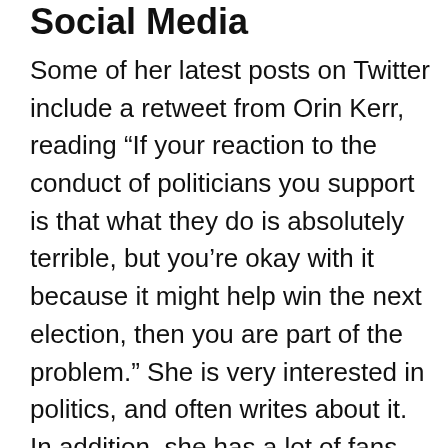Social Media
Some of her latest posts on Twitter include a retweet from Orin Kerr, reading “If your reaction to the conduct of politicians you support is that what they do is absolutely terrible, but you’re okay with it because it might help win the next election, then you are part of the problem.” She is very interested in politics, and often writes about it. In addition, she has a lot of fans who often write about her. One person went on to compliment her acting skills in “Rules of Engagement”, and many others agreed.